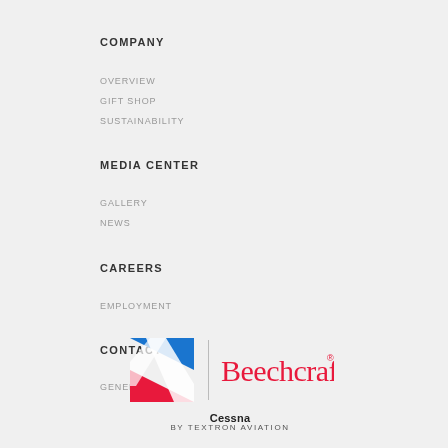COMPANY
OVERVIEW
GIFT SHOP
SUSTAINABILITY
MEDIA CENTER
GALLERY
NEWS
CAREERS
EMPLOYMENT
CONTACT
GENERAL
[Figure (logo): Cessna | Beechcraft by Textron Aviation logo]
BY TEXTRON AVIATION